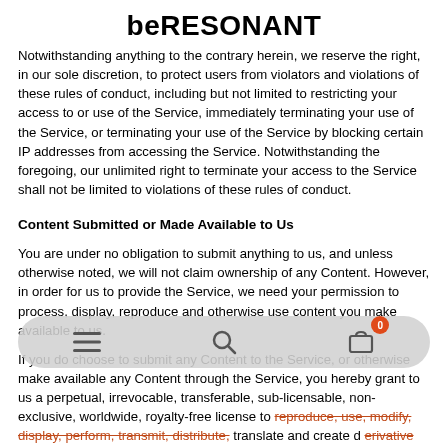beRESONANT
Notwithstanding anything to the contrary herein, we reserve the right, in our sole discretion, to protect users from violators and violations of these rules of conduct, including but not limited to restricting your access to or use of the Service, immediately terminating your use of the Service, or terminating your use of the Service by blocking certain IP addresses from accessing the Service. Notwithstanding the foregoing, our unlimited right to terminate your access to the Service shall not be limited to violations of these rules of conduct.
Content Submitted or Made Available to Us
You are under no obligation to submit anything to us, and unless otherwise noted, we will not claim ownership of any Content. However, in order for us to provide the Service, we need your permission to process, display, reproduce and otherwise use content you make available to us.
If you do choose to submit any Content to the Service, or otherwise make available any Content through the Service, you hereby grant to us a perpetual, irrevocable, transferable, sub-licensable, non-exclusive, worldwide, royalty-free license to reproduce, use, modify, display, perform, transmit, distribute, translate and create derivative works from such Content for the purpose of providing the Service, including without limitation distributing part or all of the Content in any media format through any media channels, including but not limited to the right to